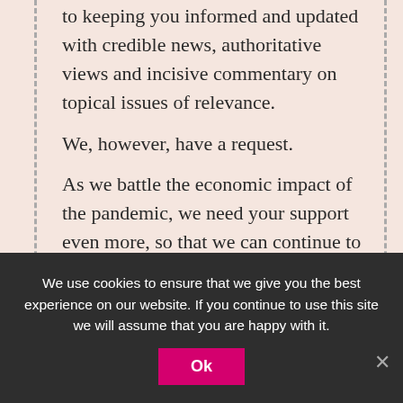arising out of COVID-19, we continue to remain committed to keeping you informed and updated with credible news, authoritative views and incisive commentary on topical issues of relevance.
We, however, have a request.

As we battle the economic impact of the pandemic, we need your support even more, so that we can continue to offer you more quality content. Our subscription model has seen an encouraging response from many of you, who have subscribed to our online content. More subscription to our online content can only help us achieve the goals of offering you even better and more relevant content. We
We use cookies to ensure that we give you the best experience on our website. If you continue to use this site we will assume that you are happy with it.
Ok